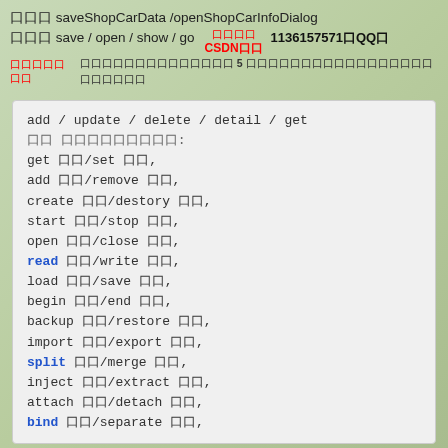口口口 saveShopCarData /openShopCarInfoDialog
口口口 save / open / show / go    口口口口
CSDN口口   1136157571口QQ口
口口口口口口口口口口口口口口口口口口口口 5 口口口口口口口口口口口口口口口口口口口口口口口
add / update / delete / detail / get
口口 口口口口口口口口口:
get 口口/set 口口,
add 口口/remove 口口,
create 口口/destory 口口,
start 口口/stop 口口,
open 口口/close 口口,
read 口口/write 口口,
load 口口/save 口口,
begin 口口/end 口口,
backup 口口/restore 口口,
import 口口/export 口口,
split 口口/merge 口口,
inject 口口/extract 口口,
attach 口口/detach 口口,
bind 口口/separate 口口,